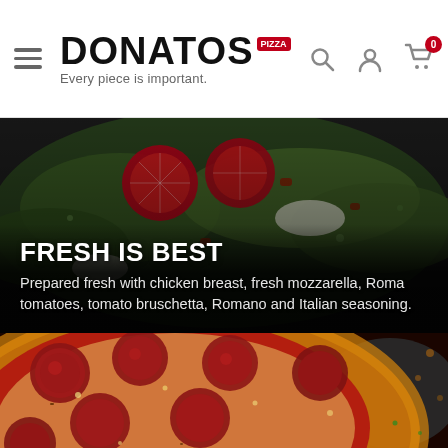Donatos Pizza — Every piece is important.
FRESH IS BEST
Prepared fresh with chicken breast, fresh mozzarella, Roma tomatoes, tomato bruschetta, Romano and Italian seasoning.
[Figure (photo): Close-up photograph of a fresh salad with tomatoes, lettuce, mozzarella and toppings on a dark background]
[Figure (photo): Close-up photograph of a pepperoni pizza with red sauce and melted cheese in a dark pan]